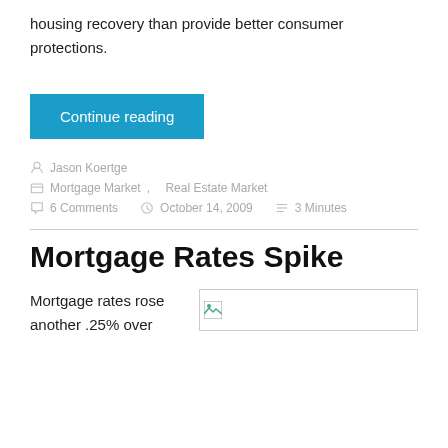housing recovery than provide better consumer protections.
Continue reading
Jason Koertge
Mortgage Market, Real Estate Market
6 Comments   October 14, 2009   3 Minutes
Mortgage Rates Spike
Mortgage rates rose another .25% over
[Figure (photo): Broken/placeholder image in article preview]